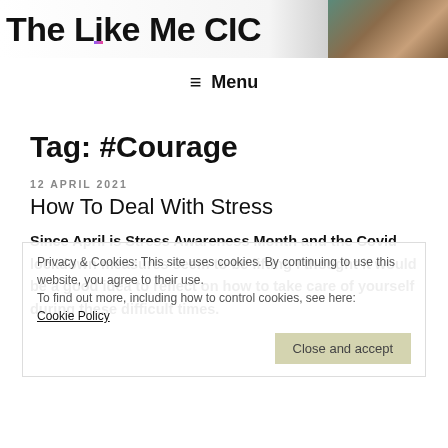The Like Me CIC
≡ Menu
Tag: #Courage
12 APRIL 2021
How To Deal With Stress
Since April is Stress Awareness Month and the Covid lockdown measures seem to be lifting I thought it would be a good idea to reflect on how to take care of yourself during these difficult times.
Privacy & Cookies: This site uses cookies. By continuing to use this website, you agree to their use. To find out more, including how to control cookies, see here: Cookie Policy
Close and accept